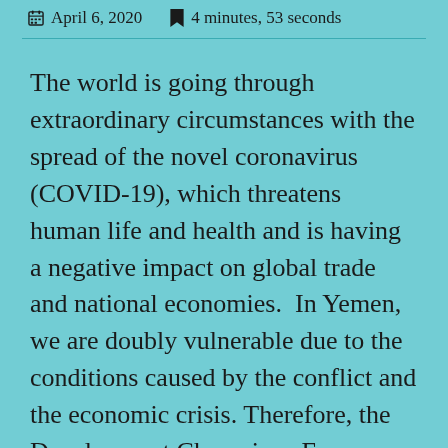April 6, 2020   4 minutes, 53 seconds
The world is going through extraordinary circumstances with the spread of the novel coronavirus (COVID-19), which threatens human life and health and is having a negative impact on global trade and national economies.  In Yemen, we are doubly vulnerable due to the conditions caused by the conflict and the economic crisis. Therefore, the Development Champions Forum calls for an immediate halt of all military operations across Yemen, and for a positive and swift response to the